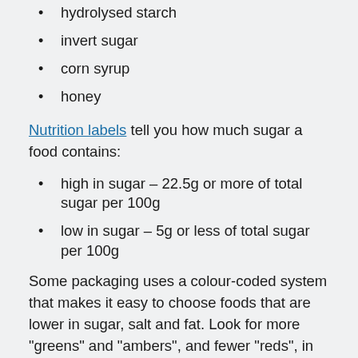hydrolysed starch
invert sugar
corn syrup
honey
Nutrition labels tell you how much sugar a food contains:
high in sugar – 22.5g or more of total sugar per 100g
low in sugar – 5g or less of total sugar per 100g
Some packaging uses a colour-coded system that makes it easy to choose foods that are lower in sugar, salt and fat. Look for more "greens" and "ambers", and fewer "reds", in your shopping basket.
Breakfast
Many breakfast cereals are high in sugar. Try switching